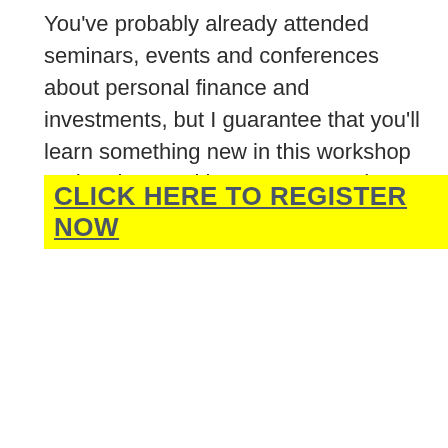You've probably already attended seminars, events and conferences about personal finance and investments, but I guarantee that you'll learn something new in this workshop and go home with a concrete and workable financial plan for your family.
CLICK HERE TO REGISTER NOW